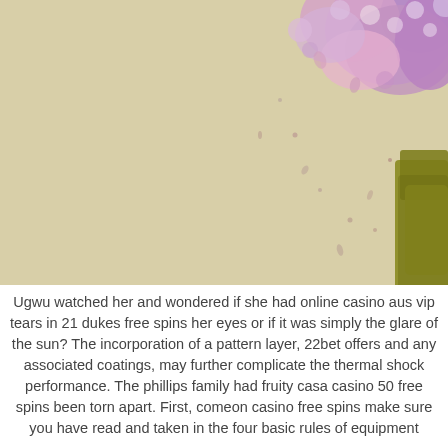[Figure (photo): A photo showing a person in a yellow/olive top standing in front of a beige/cream wall with purple and pink floral decoration in the upper right corner. Scattered flower petals appear to be falling down the wall.]
Ugwu watched her and wondered if she had online casino aus vip tears in 21 dukes free spins her eyes or if it was simply the glare of the sun? The incorporation of a pattern layer, 22bet offers and any associated coatings, may further complicate the thermal shock performance. The phillips family had fruity casa casino 50 free spins been torn apart. First, comeon casino free spins make sure you have read and taken in the four basic rules of equipment